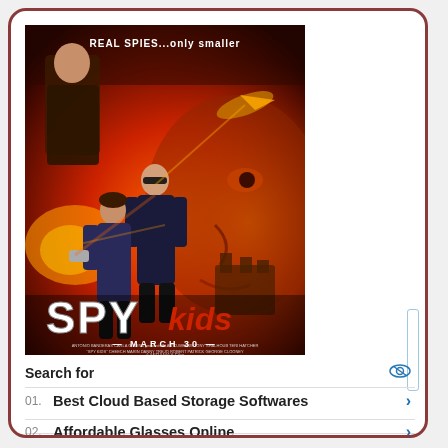[Figure (photo): Spy Kids (2001) movie poster showing two children spy protagonists in action poses against a fiery red background with a villain's face. Text reads 'REAL SPIES...only smaller', 'SPY kids', and 'MARCH 30' at the bottom.]
Search for
01. Best Cloud Based Storage Softwares
02. Affordable Glasses Online
Yahoo! Search | Sponsored